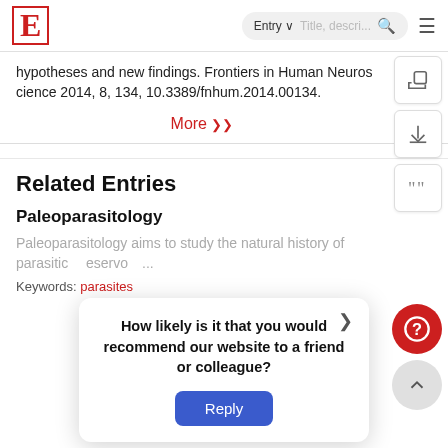E | Entry ∨ | Title, descri... 🔍 ≡
hypotheses and new findings. Frontiers in Human Neuroscience 2014, 8, 134, 10.3389/fnhum.2014.00134.
More ❯❯
Related Entries
Paleoparasitology
Paleoparasitology aims to study the natural history of parasitic ... reservoir ...
Keywords: ... parasites
How likely is it that you would recommend our website to a friend or colleague? Reply